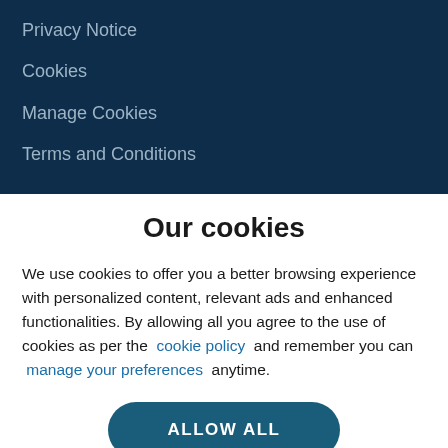Privacy Notice
Cookies
Manage Cookies
Terms and Conditions
Our cookies
We use cookies to offer you a better browsing experience with personalized content, relevant ads and enhanced functionalities. By allowing all you agree to the use of cookies as per the cookie policy and remember you can manage your preferences anytime.